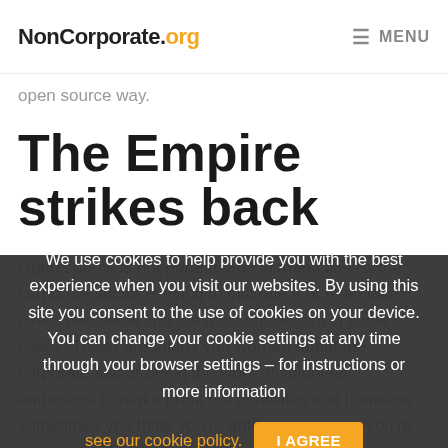NonCorporate.org  ☰ MENU
open source way.
The Empire strikes back
Open source is not perfect, and in many cases, the corporate sector is trying to infiltrate it or even take it over. See below into the most successful in some cases. These are things you worried about the corporate sector being the work of volunteer enthusiast to make profit out of utilities and therefore sometimes you think you're anti-corporate but you're actually funding them.
Android, for example, is the only open source – an
We use cookies to help provide you with the best experience when you visit our websites. By using this site you consent to the use of cookies on your device. You can change your cookie settings at any time through your browser settings – for instructions or more information see our cookie policy. I AGREE